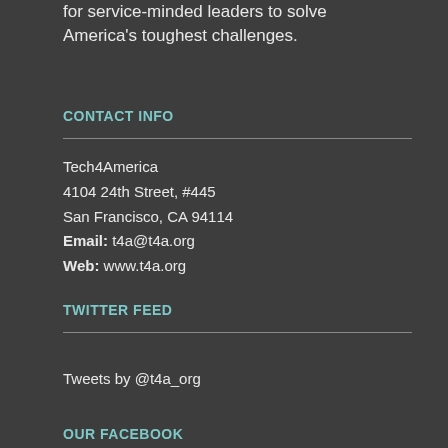for service-minded leaders to solve America's toughest challenges.
CONTACT INFO
Tech4America
4104 24th Street, #445
San Francisco, CA 94114
Email: t4a@t4a.org
Web: www.t4a.org
TWITTER FEED
Tweets by @t4a_org
OUR FACEBOOK